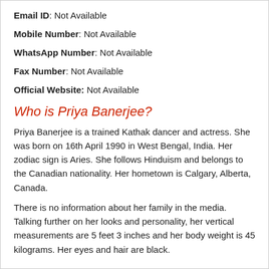Email ID: Not Available
Mobile Number: Not Available
WhatsApp Number: Not Available
Fax Number: Not Available
Official Website: Not Available
Who is Priya Banerjee?
Priya Banerjee is a trained Kathak dancer and actress. She was born on 16th April 1990 in West Bengal, India. Her zodiac sign is Aries. She follows Hinduism and belongs to the Canadian nationality. Her hometown is Calgary, Alberta, Canada.
There is no information about her family in the media. Talking further on her looks and personality, her vertical measurements are 5 feet 3 inches and her body weight is 45 kilograms. Her eyes and hair are black.